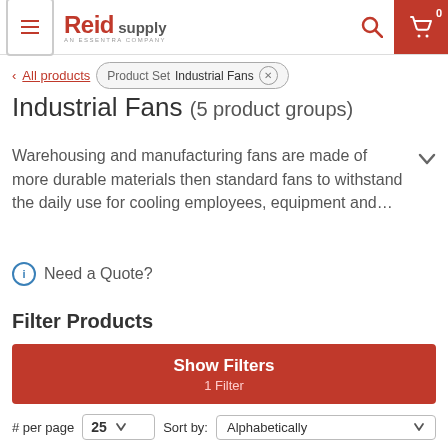Reid Supply – An Essentra Company
< All products  Product Set  Industrial Fans ×
Industrial Fans (5 product groups)
Warehousing and manufacturing fans are made of more durable materials then standard fans to withstand the daily use for cooling employees, equipment and…
ⓘ Need a Quote?
Filter Products
Show Filters
1 Filter
# per page  25  Sort by:  Alphabetically